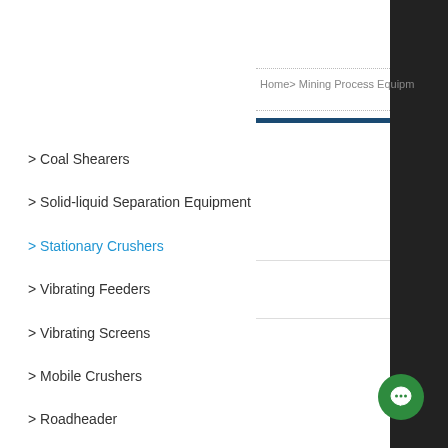Home> Mining Process Equipment
> Coal Shearers
> Solid-liquid Separation Equipment
> Stationary Crushers
> Vibrating Feeders
> Vibrating Screens
> Mobile Crushers
> Roadheader
> Grinding Mill
> Classifying
> Flotation